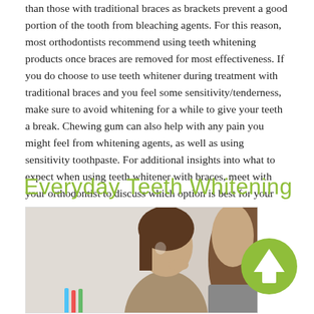than those with traditional braces as brackets prevent a good portion of the tooth from bleaching agents. For this reason, most orthodontists recommend using teeth whitening products once braces are removed for most effectiveness. If you do choose to use teeth whitener during treatment with traditional braces and you feel some sensitivity/tenderness, make sure to avoid whitening for a while to give your teeth a break. Chewing gum can also help with any pain you might feel from whitening agents, as well as using sensitivity toothpaste. For additional insights into what to expect when using teeth whitener with braces, meet with your orthodontist to discuss which option is best for your mouth.
Everyday Teeth Whitening
[Figure (photo): A young woman looking in a mirror, appearing to use a teeth whitening strip or dental product. Colorful toothbrushes visible in the foreground.]
[Figure (other): A green circular up-arrow icon/button]